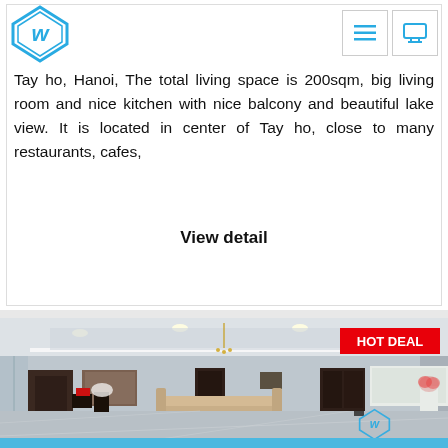[Figure (logo): Blue diamond-shaped logo with stylized W letter inside]
Tay ho, Hanoi, The total living space is 200sqm, big living room and nice kitchen with nice balcony and beautiful lake view. It is located in center of Tay ho, close to many restaurants, cafes,
View detail
[Figure (photo): Interior photo of a large luxury living room with marble floors, recessed lighting, beige sofas, dark wood furniture, kitchen area visible in background, HOT DEAL badge in top right corner]